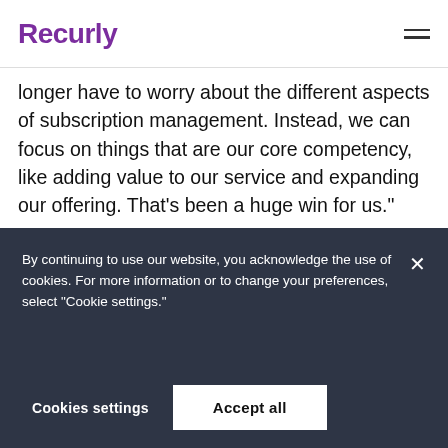Recurly
longer have to worry about the different aspects of subscription management. Instead, we can focus on things that are our core competency, like adding value to our service and expanding our offering. That's been a huge win for us."
[Figure (illustration): Large decorative opening double quotation marks in light gray]
By continuing to use our website, you acknowledge the use of cookies. For more information or to change your preferences, select “Cookie settings.”
Cookies settings   Accept all